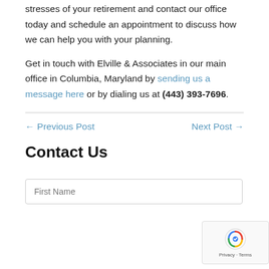stresses of your retirement and contact our office today and schedule an appointment to discuss how we can help you with your planning.
Get in touch with Elville & Associates in our main office in Columbia, Maryland by sending us a message here or by dialing us at (443) 393-7696.
← Previous Post
Next Post →
Contact Us
First Name